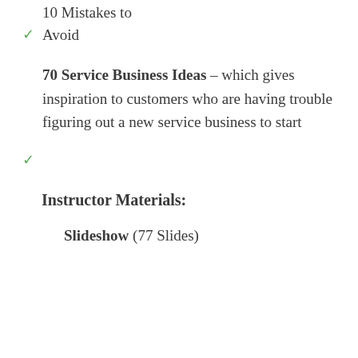10 Mistakes to Avoid
70 Service Business Ideas – which gives inspiration to customers who are having trouble figuring out a new service business to start
Instructor Materials:
Slideshow (77 Slides)